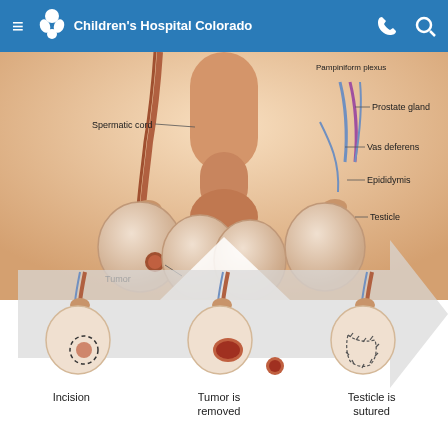Children's Hospital Colorado
[Figure (medical-illustration): Anatomical diagram of male reproductive anatomy showing spermatic cord, prostate gland, vas deferens, epididymis, testicle, and tumor with callout labels]
[Figure (engineering-diagram): Three-step surgical procedure diagram showing: Step 1 - Incision with dashed circle around tumor, Step 2 - Tumor is removed showing exposed tumor tissue, Step 3 - Testicle is sutured showing stitched closure. Large grey arrow points right across all three steps.]
Incision
Tumor is removed
Testicle is sutured